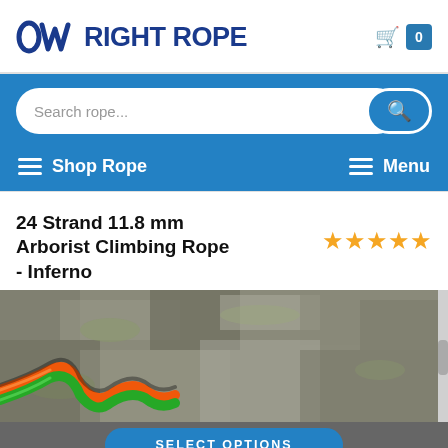OWO RIGHT ROPE
[Figure (screenshot): Search bar with placeholder text 'Search rope...' and a search button on a blue background]
Shop Rope | Menu
24 Strand 11.8 mm Arborist Climbing Rope - Inferno
[Figure (photo): Close-up photo of bark/tree surface texture with a colorful braided arborist climbing rope (orange, green, black) visible in lower left]
SELECT OPTIONS